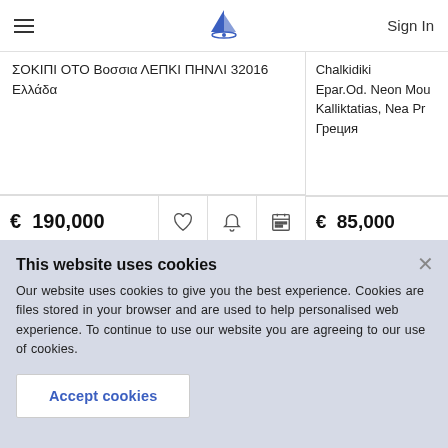Navigation bar with hamburger menu, sailboat logo, and Sign In
ΣΟΚΙΠΙ ΟΤΟ Βοσσια ΛΕΠΚΙ ΠΗΝΛΙ 32016
Ελλάδα
€ 190,000
Chalkidiki
Epar.Od. Neon Mou Kalliktatias, Nea Pr Греция
€ 85,000
This website uses cookies
Our website uses cookies to give you the best experience. Cookies are files stored in your browser and are used to help personalised web experience. To continue to use our website you are agreeing to our use of cookies.
Accept cookies